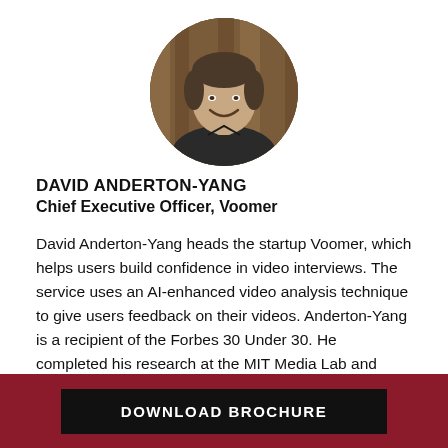[Figure (photo): Circular headshot of David Anderton-Yang, a smiling man in a dark shirt against a wooden background]
DAVID ANDERTON-YANG
Chief Executive Officer, Voomer
David Anderton-Yang heads the startup Voomer, which helps users build confidence in video interviews. The service uses an AI-enhanced video analysis technique to give users feedback on their videos. Anderton-Yang is a recipient of the Forbes 30 Under 30. He completed his research at the MIT Media Lab and teaches big data, IoT,
DOWNLOAD BROCHURE